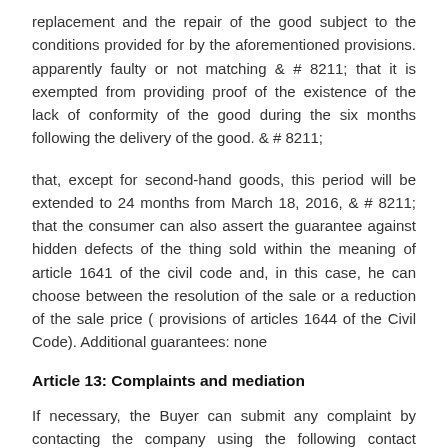replacement and the repair of the good subject to the conditions provided for by the aforementioned provisions. apparently faulty or not matching & # 8211; that it is exempted from providing proof of the existence of the lack of conformity of the good during the six months following the delivery of the good. & # 8211;
that, except for second-hand goods, this period will be extended to 24 months from March 18, 2016, & # 8211; that the consumer can also assert the guarantee against hidden defects of the thing sold within the meaning of article 1641 of the civil code and, in this case, he can choose between the resolution of the sale or a reduction of the sale price ( provisions of articles 1644 of the Civil Code). Additional guarantees: none
Article 13: Complaints and mediation
If necessary, the Buyer can submit any complaint by contacting the company using the following contact details: postmaster@atelierdeviviska.fr specify your order number.